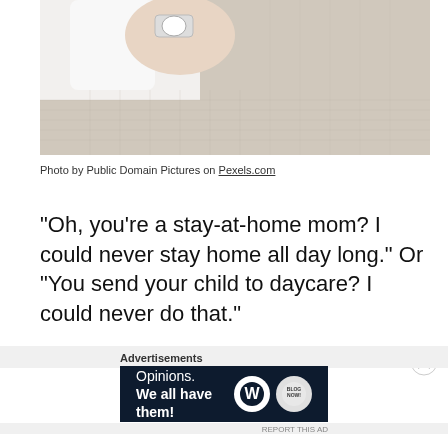[Figure (photo): Close-up photo of a person's hand holding a white mug, wearing a watch and a light beige knit sweater]
Photo by Public Domain Pictures on Pexels.com
"Oh, you're a stay-at-home mom? I could never stay home all day long." Or "You send your child to daycare? I could never do that."
Advertisements
[Figure (other): Advertisement banner: Opinions. We all have them! with WordPress logo and another circular logo on dark navy background]